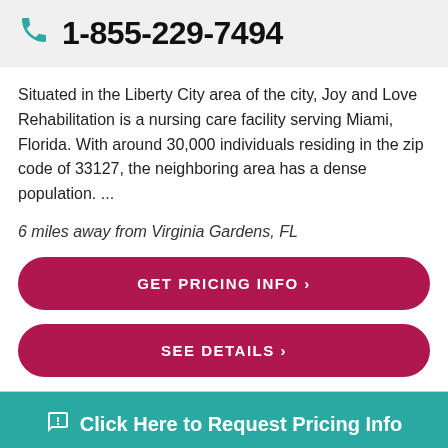1-855-229-7494
Situated in the Liberty City area of the city, Joy and Love Rehabilitation is a nursing care facility serving Miami, Florida. With around 30,000 individuals residing in the zip code of 33127, the neighboring area has a dense population. ...
6 miles away from Virginia Gardens, FL
GET PRICING INFO ›
SEE DETAILS ›
Click Here to Request Pricing Info